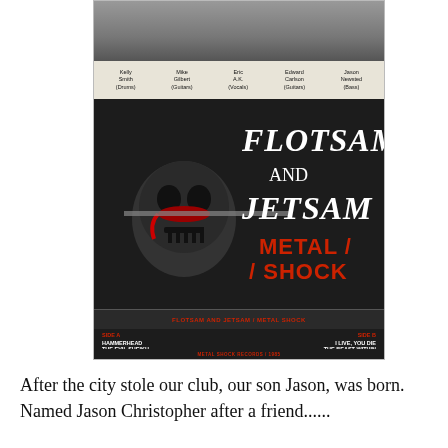[Figure (photo): Black and white photo of band members at top, below which is a Flotsam and Jetsam Metal Shock cassette tape cover/insert with skull logo, red text reading METAL / SHOCK, tracklist showing Side A: Hammerhead, The Evil Sheikh and Side B: I Live You Die, The Beast Within]
After the city stole our club, our son Jason, was born.  Named Jason Christopher after a friend......